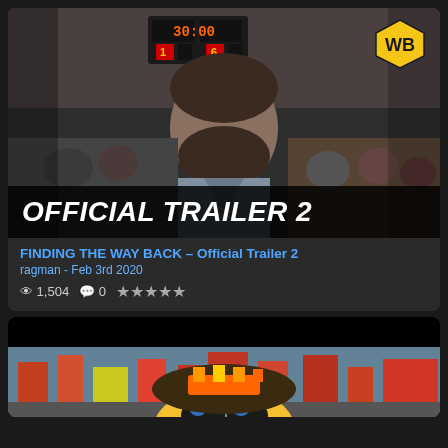[Figure (screenshot): Video thumbnail showing a man in a basketball gymnasium looking up, with scoreboard in background and WB logo in top right corner. 'OFFICIAL TRAILER 2' text overlay at bottom.]
FINDING THE WAY BACK – Official Trailer 2
ragman - Feb 3rd 2020
1,504   0   ★★★★★
[Figure (screenshot): Video thumbnail showing animated characters in a city street scene, bottom portion of card visible.]